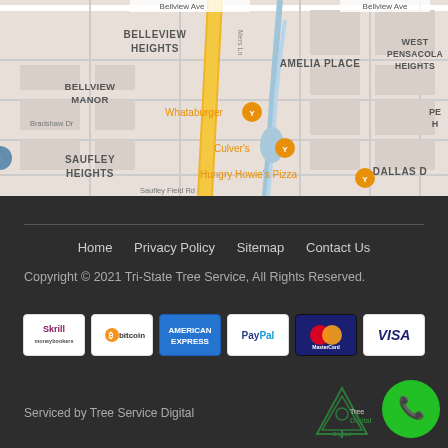[Figure (map): Street map showing Belleview Heights, Bellview Manor, Amelia Place, West Pensacola Heights, Saufley Heights, Dallas D neighborhoods, with restaurant markers for Whataburger, Culver's, and Hungry Howie's Pizza along a main road (Hwy 29/yellow road).]
Home   Privacy Policy   Sitemap   Contact Us
Copyright © 2021 Tri-State Tree Service, All Rights Reserved.
Serviced by Tree Service Digital